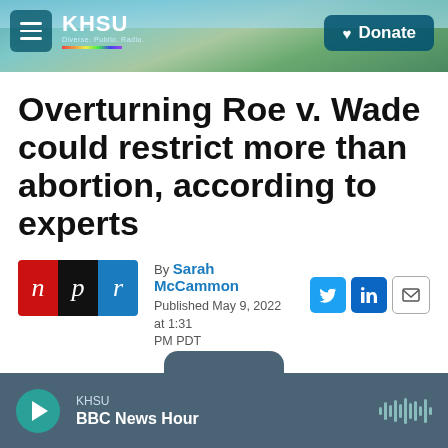KHSU — Donate
Overturning Roe v. Wade could restrict more than abortion, according to experts
By Sarah McCammon
Published May 9, 2022 at 1:31 PM PDT
[Figure (logo): NPR logo with red N, black P, blue R letters]
KHSU
BBC News Hour